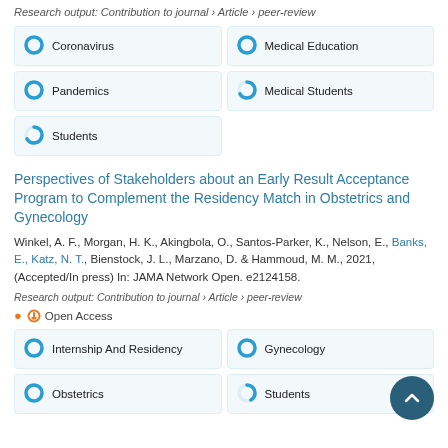Research output: Contribution to journal › Article › peer-review
[Figure (infographic): 5 keyword badges with donut-style percentage icons: Coronavirus (100%), Medical Education (100%), Pandemics (100%), Medical Students (67%), Students (67%)]
Perspectives of Stakeholders about an Early Result Acceptance Program to Complement the Residency Match in Obstetrics and Gynecology
Winkel, A. F., Morgan, H. K., Akingbola, O., Santos-Parker, K., Nelson, E., Banks, E., Katz, N. T., Bienstock, J. L., Marzano, D. & Hammoud, M. M., 2021, (Accepted/In press) In: JAMA Network Open. e2124158.
Research output: Contribution to journal › Article › peer-review
Open Access
[Figure (infographic): 4 keyword badges with donut-style percentage icons: Internship And Residency (100%), Gynecology (100%), Obstetrics (100%), Students (42%)]